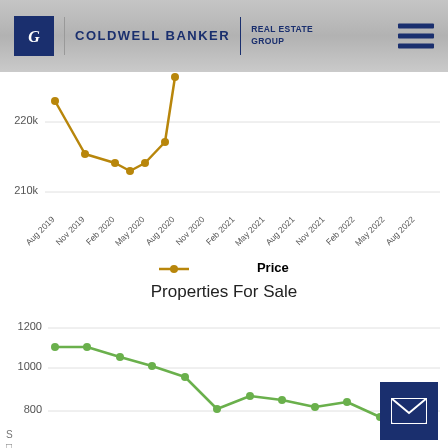Coldwell Banker Real Estate Group
[Figure (line-chart): ]
● Price
Properties For Sale
[Figure (line-chart): Properties For Sale]